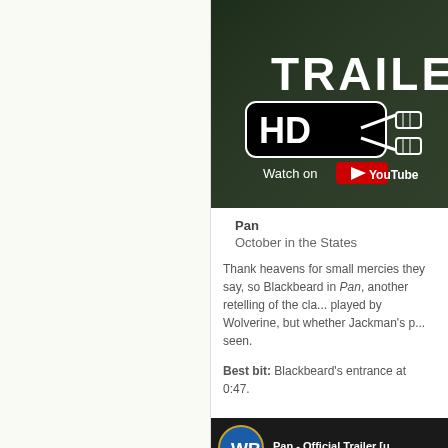[Figure (screenshot): YouTube trailer thumbnail with dark green background showing 'TRAILER' text in large white letters and an 'HD' badge with scissors/film icon, with 'Watch on YouTube' button below]
Pan
October in the States
Thank heavens for small mercies they say, so Blackbeard in Pan, another retelling of the cla... played by Wolverine, but whether Jackman's p... seen.
Best bit: Blackbeard's entrance at 0:47.
[Figure (screenshot): Bottom thumbnail showing Warner Bros logo and 'Pan - Official Trailer' text]